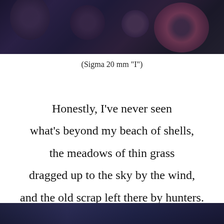[Figure (photo): Dark moody photograph of shells or round organic objects with purple and deep blue tones, top of page]
(Sigma 20 mm "I")
Honestly, I've never seen what's beyond my beach of shells, the meadows of thin grass dragged up to the sky by the wind, and the old scrap left there by hunters.
[Figure (photo): Dark blue and navy photograph at the bottom of the page, partial view]